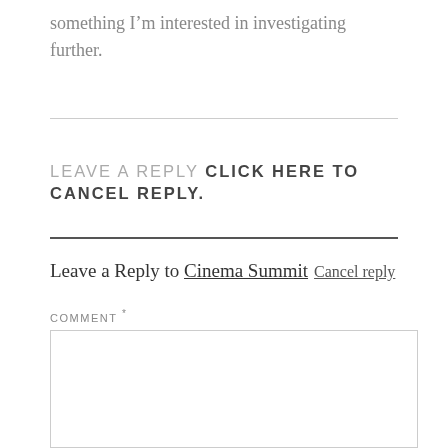something I’m interested in investigating further.
LEAVE A REPLY CLICK HERE TO CANCEL REPLY.
Leave a Reply to Cinema Summit Cancel reply
COMMENT *